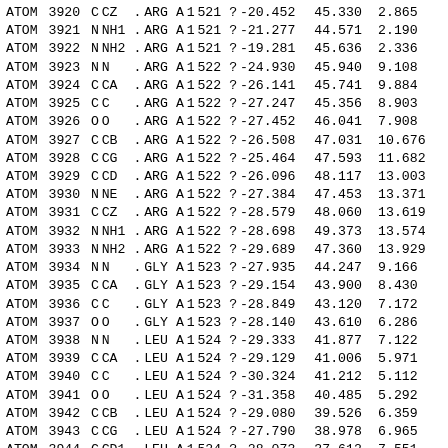| ATOM | 3920 | C | CZ | . | ARG | A | 1 | 521 | ? | -20.452 | 45.330 | 2.865 |
| ATOM | 3921 | N | NH1 | . | ARG | A | 1 | 521 | ? | -21.277 | 44.571 | 2.190 |
| ATOM | 3922 | N | NH2 | . | ARG | A | 1 | 521 | ? | -19.281 | 45.636 | 2.336 |
| ATOM | 3923 | N | N | . | ARG | A | 1 | 522 | ? | -24.930 | 45.940 | 9.108 |
| ATOM | 3924 | C | CA | . | ARG | A | 1 | 522 | ? | -26.141 | 45.741 | 9.884 |
| ATOM | 3925 | C | C | . | ARG | A | 1 | 522 | ? | -27.247 | 45.356 | 8.903 |
| ATOM | 3926 | O | O | . | ARG | A | 1 | 522 | ? | -27.452 | 46.041 | 7.908 |
| ATOM | 3927 | C | CB | . | ARG | A | 1 | 522 | ? | -26.508 | 47.031 | 10.676 |
| ATOM | 3928 | C | CG | . | ARG | A | 1 | 522 | ? | -25.464 | 47.593 | 11.682 |
| ATOM | 3929 | C | CD | . | ARG | A | 1 | 522 | ? | -26.096 | 48.117 | 13.003 |
| ATOM | 3930 | N | NE | . | ARG | A | 1 | 522 | ? | -27.384 | 47.453 | 13.371 |
| ATOM | 3931 | C | CZ | . | ARG | A | 1 | 522 | ? | -28.579 | 48.060 | 13.619 |
| ATOM | 3932 | N | NH1 | . | ARG | A | 1 | 522 | ? | -28.698 | 49.373 | 13.574 |
| ATOM | 3933 | N | NH2 | . | ARG | A | 1 | 522 | ? | -29.689 | 47.360 | 13.929 |
| ATOM | 3934 | N | N | . | GLY | A | 1 | 523 | ? | -27.935 | 44.247 | 9.166 |
| ATOM | 3935 | C | CA | . | GLY | A | 1 | 523 | ? | -29.154 | 43.900 | 8.430 |
| ATOM | 3936 | C | C | . | GLY | A | 1 | 523 | ? | -28.849 | 43.120 | 7.172 |
| ATOM | 3937 | O | O | . | GLY | A | 1 | 523 | ? | -28.140 | 43.610 | 6.286 |
| ATOM | 3938 | N | N | . | LEU | A | 1 | 524 | ? | -29.333 | 41.877 | 7.122 |
| ATOM | 3939 | C | CA | . | LEU | A | 1 | 524 | ? | -29.129 | 41.006 | 5.971 |
| ATOM | 3940 | C | C | . | LEU | A | 1 | 524 | ? | -30.324 | 41.212 | 5.112 |
| ATOM | 3941 | O | O | . | LEU | A | 1 | 524 | ? | -31.358 | 40.485 | 5.292 |
| ATOM | 3942 | C | CB | . | LEU | A | 1 | 524 | ? | -29.080 | 39.526 | 6.359 |
| ATOM | 3943 | C | CG | . | LEU | A | 1 | 524 | ? | -27.790 | 38.978 | 6.965 |
| ATOM | 3944 | C | CD1 | . | LEU | A | 1 | 524 | ? | -28.073 | 37.612 | 7.551 |
| ATOM | 3945 | C | CD2 | . | LEU | A | 1 | 524 | ? | -26.607 | 38.879 | 6.017 |
| ATOM | 3946 | N | N | . | ARG | A | 1 | 525 | ? | -30.218 | 42.223 | 4.232 |
| ATOM | 3947 | C | CA | . | ARG | A | 1 | 525 | ? | -31.322 | 42.570 | 3.351 |
| ATOM | 3948 | C | C | . | ARG | A | 1 | 525 | ? | -32.621 | 42.761 | 4.191 |
| ATOM | 3949 | O | O | . | ARG | A | 1 | 525 | ? | -33.674 | 42.145 | 3.907 |